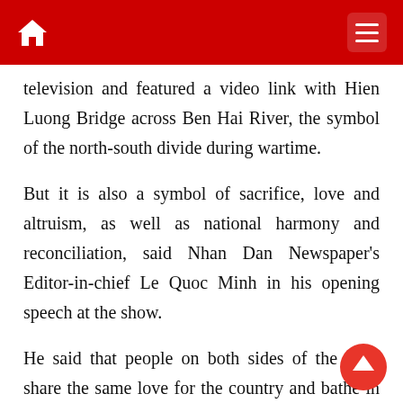television and featured a video link with Hien Luong Bridge across Ben Hai River, the symbol of the north-south divide during wartime.
But it is also a symbol of sacrifice, love and altruism, as well as national harmony and reconciliation, said Nhan Dan Newspaper's Editor-in-chief Le Quoc Minh in his opening speech at the show.
He said that people on both sides of the river share the same love for the country and bathe in the same river of Vietnamese language and culture, despite once being on opposite sides on the battlefront.
The senior journalist added that when the country is